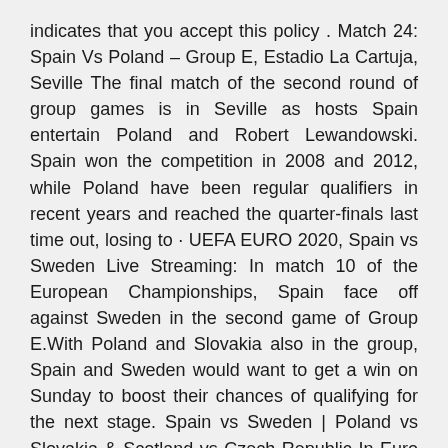indicates that you accept this policy . Match 24: Spain Vs Poland – Group E, Estadio La Cartuja, Seville The final match of the second round of group games is in Seville as hosts Spain entertain Poland and Robert Lewandowski. Spain won the competition in 2008 and 2012, while Poland have been regular qualifiers in recent years and reached the quarter-finals last time out, losing to · UEFA EURO 2020, Spain vs Sweden Live Streaming: In match 10 of the European Championships, Spain face off against Sweden in the second game of Group E.With Poland and Slovakia also in the group, Spain and Sweden would want to get a win on Sunday to boost their chances of qualifying for the next stage. Spain vs Sweden | Poland vs Slovakia & Scotland vs Czech Republic In Euro 2020 Daily Round UpReviewing Spain vs SwedenPoland vs SlovakiaScotland vs Czech